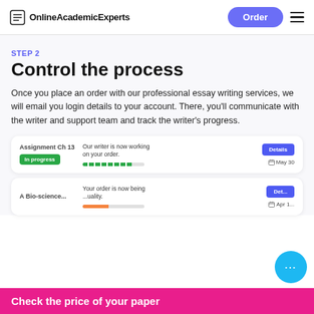OnlineAcademicExperts | Order
STEP 2
Control the process
Once you place an order with our professional essay writing services, we will email you login details to your account. There, you'll communicate with the writer and support team and track the writer's progress.
[Figure (screenshot): UI card showing Assignment Ch 13 order in progress with green progress bar and Details button, due May 30]
[Figure (screenshot): Partial UI card showing a second assignment order being reviewed for quality, with orange progress bar and partially visible Details button, due Apr]
Check the price of your paper